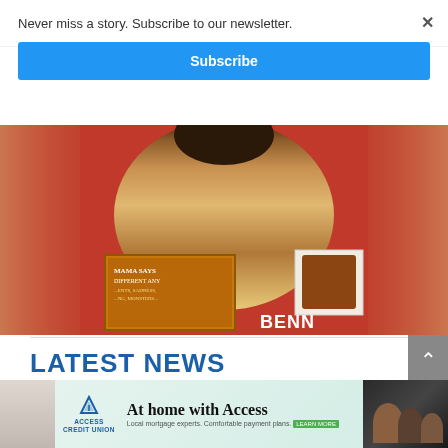Never miss a story. Subscribe to our newsletter.
Subscribe
[Figure (photo): Overhead photo of a small terrier dog sitting on a red surface next to a book titled 'Mama Says Different Any' and a badge reading 'BENNY', partially cropped with blurred left and right edges]
LATEST NEWS
[Figure (photo): Advertisement for Access Credit Union: 'At home with Access — Local mortgage experts. Comfortable payment plans.' with family photo on right side]
×